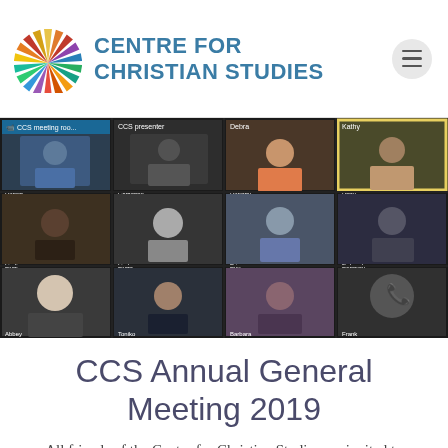[Figure (logo): Centre for Christian Studies logo with sunburst icon and organization name in blue]
[Figure (photo): Screenshot of a Zoom video call showing 12 participants in a grid layout. Names visible include CCS meeting room, CCS presenter, Debra, Kathy, Robert, Catharine, Dorothy, Patty, Lindi, Linda, Erin, Deborah, Abbey, Toniko, Barbara, Frank (phone icon).]
CCS Annual General Meeting 2019
All friends of the Centre for Christian Studies are invited to join us, in person at Woodsworth House (60 Maryland St,